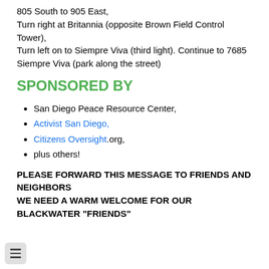805 South to 905 East,
Turn right at Britannia (opposite Brown Field Control Tower),
Turn left on to Siempre Viva (third light). Continue to 7685 Siempre Viva (park along the street)
SPONSORED BY
San Diego Peace Resource Center,
Activist San Diego,
Citizens Oversight.org,
plus others!
PLEASE FORWARD THIS MESSAGE TO FRIENDS AND NEIGHBORS
WE NEED A WARM WELCOME FOR OUR BLACKWATER "FRIENDS"